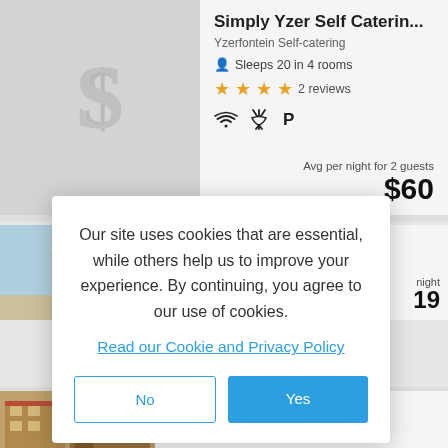Simply Yzer Self Caterin...
Yzerfontein Self-catering
Sleeps 20 in 4 rooms
★★★★ 2 reviews
Avg per night for 2 guests $60
Log Home
Our site uses cookies that are essential, while others help us to improve your experience. By continuing, you agree to our use of cookies.
Read our Cookie and Privacy Policy
No
Yes
19
Filters
...ing H...
Yzerfontein Self-catering